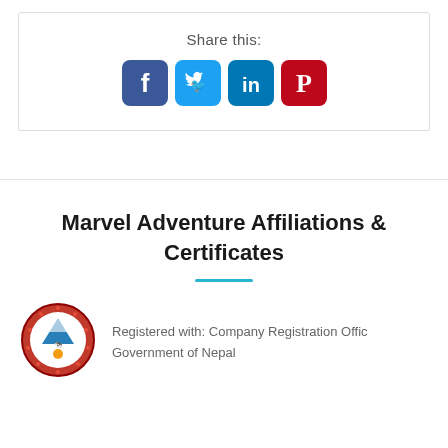Share this:
[Figure (infographic): Social media share buttons: Facebook (blue rounded square with f), Twitter (cyan rounded square with bird), LinkedIn (blue rounded square with 'in'), Pinterest (red rounded square with P)]
Marvel Adventure Affiliations & Certificates
[Figure (logo): Nepal Government coat of arms / emblem - red circular badge with mountain, flags, and floral border]
Registered with: Company Registration Office, Government of Nepal